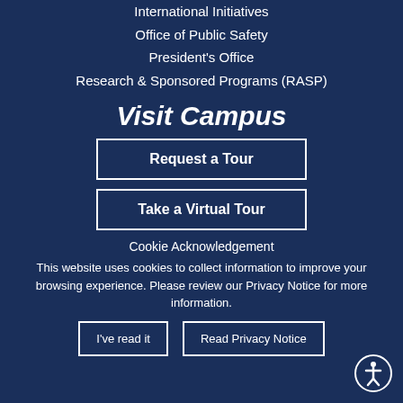International Initiatives
Office of Public Safety
President's Office
Research & Sponsored Programs (RASP)
Visit Campus
Request a Tour
Take a Virtual Tour
Cookie Acknowledgement
This website uses cookies to collect information to improve your browsing experience. Please review our Privacy Notice for more information.
I've read it
Read Privacy Notice